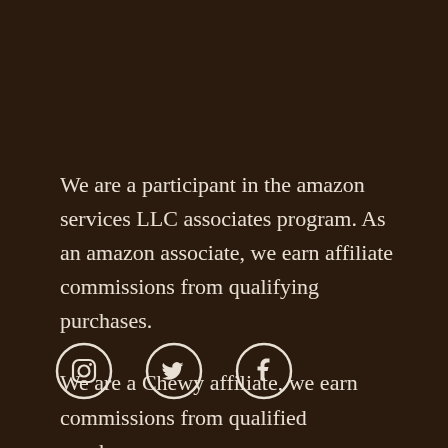We are a participant in the amazon services LLC associates program. As an amazon associate, we earn affiliate commissions from qualifying purchases.
We are a Chewy affiliate, we earn commissions from qualified purchases.
[Figure (other): Three social media icons (Instagram, Twitter, Facebook) in white circles on dark brown background]